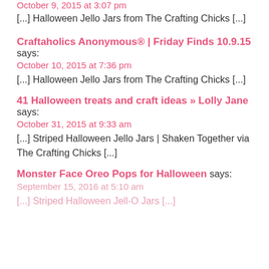October 9, 2015 at 3:07 pm
[...] Halloween Jello Jars from The Crafting Chicks [...]
Craftaholics Anonymous® | Friday Finds 10.9.15 says:
October 10, 2015 at 7:36 pm
[...] Halloween Jello Jars from The Crafting Chicks [...]
41 Halloween treats and craft ideas » Lolly Jane says:
October 31, 2015 at 9:33 am
[...] Striped Halloween Jello Jars | Shaken Together via The Crafting Chicks [...]
Monster Face Oreo Pops for Halloween says:
September 15, 2016 at 5:10 am
[...] Striped Halloween Jell-O Jars [...]